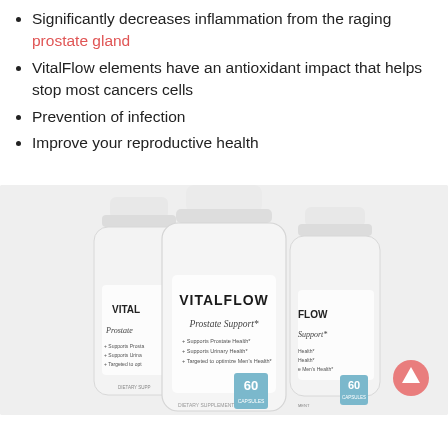Significantly decreases inflammation from the raging prostate gland
VitalFlow elements have an antioxidant impact that helps stop most cancers cells
Prevention of infection
Improve your reproductive health
[Figure (photo): Three white bottles of VitalFlow Prostate Support dietary supplement, 60 capsules each, arranged with the center bottle in front showing full label, and two bottles partially visible behind on left and right.]